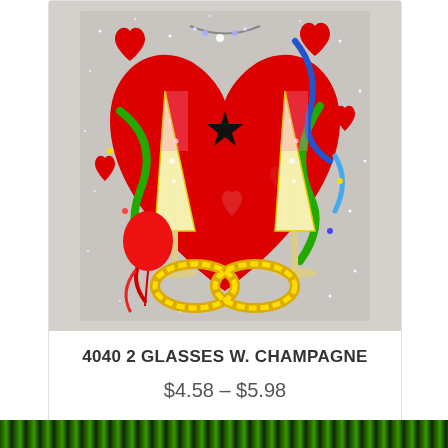[Figure (illustration): Colorful cartoon illustration of two champagne flutes clinking together with yellow ribbon/streamers, red hearts, balloons, green ribbons, on a glittery silver/grey background — a festive Valentine's/celebration decoration.]
4040 2 GLASSES W. CHAMPAGNE
$4.58 – $5.98